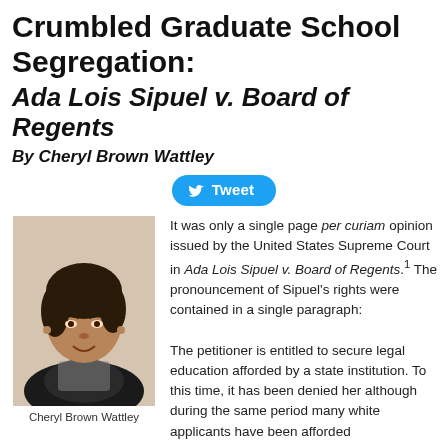Crumbled Graduate School Segregation: Ada Lois Sipuel v. Board of Regents
By Cheryl Brown Wattley
[Figure (other): Tweet button]
[Figure (photo): Photo of Cheryl Brown Wattley]
Cheryl Brown Wattley
It was only a single page per curiam opinion issued by the United States Supreme Court in Ada Lois Sipuel v. Board of Regents.¹ The pronouncement of Sipuel's rights were contained in a single paragraph:
The petitioner is entitled to secure legal education afforded by a state institution. To this time, it has been denied her although during the same period many white applicants have been afforded legal education by the State. The State must provide it for her in conformity with the equal protection clause of the Fourteenth